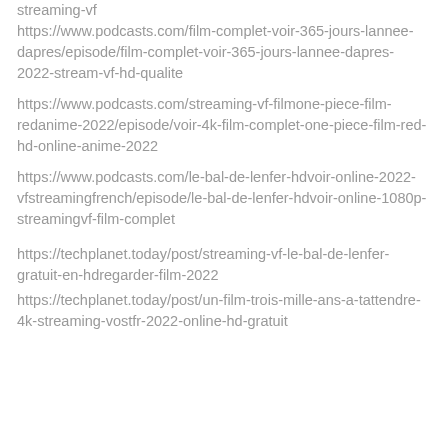streaming-vf https://www.podcasts.com/film-complet-voir-365-jours-lannee-dapres/episode/film-complet-voir-365-jours-lannee-dapres-2022-stream-vf-hd-qualite
https://www.podcasts.com/streaming-vf-filmone-piece-film-redanime-2022/episode/voir-4k-film-complet-one-piece-film-red-hd-online-anime-2022
https://www.podcasts.com/le-bal-de-lenfer-hdvoir-online-2022-vfstreamingfrench/episode/le-bal-de-lenfer-hdvoir-online-1080p-streamingvf-film-complet
https://techplanet.today/post/streaming-vf-le-bal-de-lenfer-gratuit-en-hdregarder-film-2022
https://techplanet.today/post/un-film-trois-mille-ans-a-tattendre-4k-streaming-vostfr-2022-online-hd-gratuit